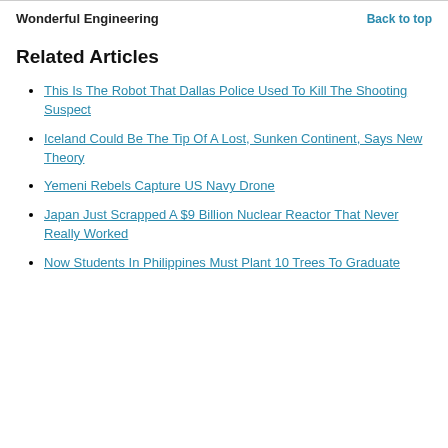Wonderful Engineering   Back to top
Related Articles
This Is The Robot That Dallas Police Used To Kill The Shooting Suspect
Iceland Could Be The Tip Of A Lost, Sunken Continent, Says New Theory
Yemeni Rebels Capture US Navy Drone
Japan Just Scrapped A $9 Billion Nuclear Reactor That Never Really Worked
Now Students In Philippines Must Plant 10 Trees To Graduate